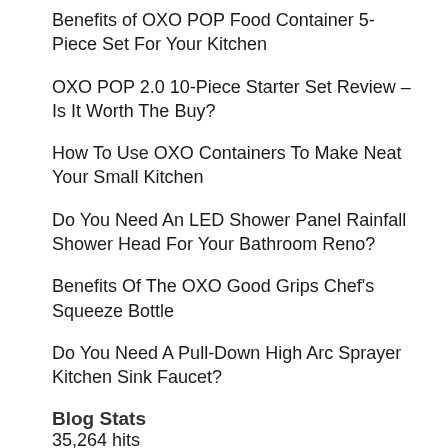Benefits of OXO POP Food Container 5-Piece Set For Your Kitchen
OXO POP 2.0 10-Piece Starter Set Review – Is It Worth The Buy?
How To Use OXO Containers To Make Neat Your Small Kitchen
Do You Need An LED Shower Panel Rainfall Shower Head For Your Bathroom Reno?
Benefits Of The OXO Good Grips Chef's Squeeze Bottle
Do You Need A Pull-Down High Arc Sprayer Kitchen Sink Faucet?
Blog Stats
35,264 hits